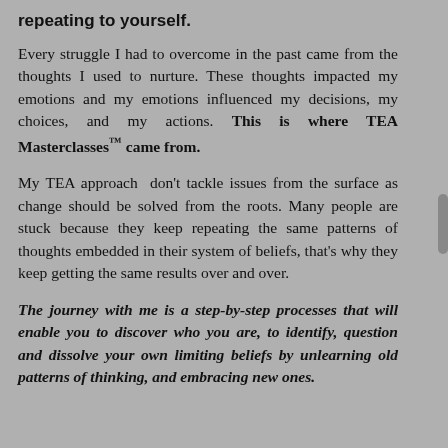repeating to yourself.
Every struggle I had to overcome in the past came from the thoughts I used to nurture. These thoughts impacted my emotions and my emotions influenced my decisions, my choices, and my actions. This is where TEA Masterclasses™ came from.
My TEA approach don't tackle issues from the surface as change should be solved from the roots. Many people are stuck because they keep repeating the same patterns of thoughts embedded in their system of beliefs, that's why they keep getting the same results over and over.
The journey with me is a step-by-step processes that will enable you to discover who you are, to identify, question and dissolve your own limiting beliefs by unlearning old patterns of thinking, and embracing new ones.